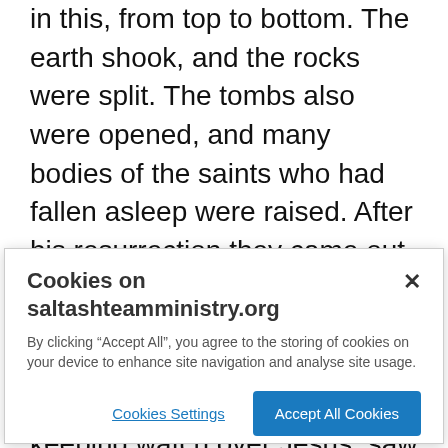in this, from top to bottom. The earth shook, and the rocks were split. The tombs also were opened, and many bodies of the saints who had fallen asleep were raised. After his resurrection they came out of the tombs and entered the holy city and appeared to many. Now when the centurion and those with him, who were keeping watch over Jesus, saw the earthquake and what took place, they were terrified and said, “Truly this man was God’s Son!”
Cookies on saltashteamministry.org
By clicking “Accept All”, you agree to the storing of cookies on your device to enhance site navigation and analyse site usage.
Cookies Settings
Accept All Cookies